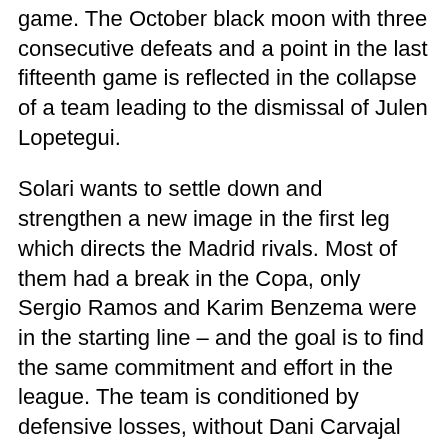game. The October black moon with three consecutive defeats and a point in the last fifteenth game is reflected in the collapse of a team leading to the dismissal of Julen Lopetegui.
Solari wants to settle down and strengthen a new image in the first leg which directs the Madrid rivals. Most of them had a break in the Copa, only Sergio Ramos and Karim Benzema were in the starting line – and the goal is to find the same commitment and effort in the league. The team is conditioned by defensive losses, without Dani Carvajal and Marcelo, or Varane in the defense center. Vallejo and Mariano are also completing complete refit to a full-fledged pest.